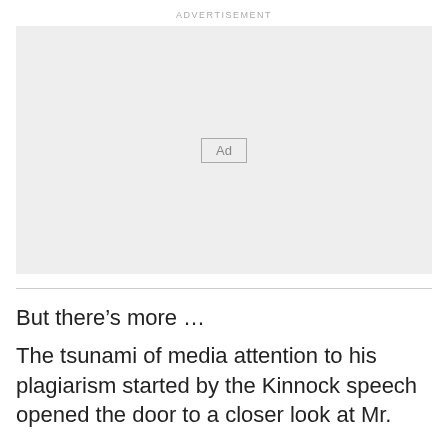ADVERTISEMENT
[Figure (other): Advertisement placeholder box with 'Ad' label button in center]
But there’s more …
The tsunami of media attention to his plagiarism started by the Kinnock speech opened the door to a closer look at Mr.